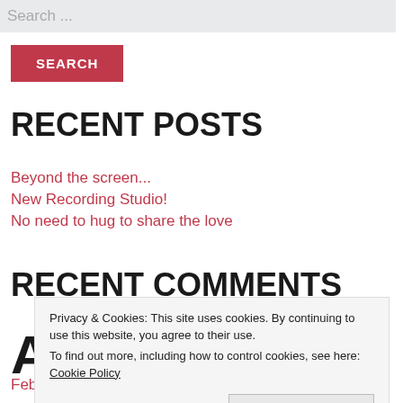Search ...
SEARCH
RECENT POSTS
Beyond the screen...
New Recording Studio!
No need to hug to share the love
RECENT COMMENTS
A
Privacy & Cookies: This site uses cookies. By continuing to use this website, you agree to their use. To find out more, including how to control cookies, see here: Cookie Policy
Close and accept
February 2021